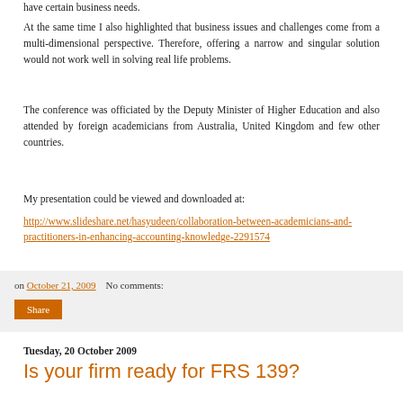have certain business needs.
At the same time I also highlighted that business issues and challenges come from a multi-dimensional perspective. Therefore, offering a narrow and singular solution would not work well in solving real life problems.
The conference was officiated by the Deputy Minister of Higher Education and also attended by foreign academicians from Australia, United Kingdom and few other countries.
My presentation could be viewed and downloaded at:
http://www.slideshare.net/hasyudeen/collaboration-between-academicians-and-practitioners-in-enhancing-accounting-knowledge-2291574
on October 21, 2009   No comments:
Share
Tuesday, 20 October 2009
Is your firm ready for FRS 139?